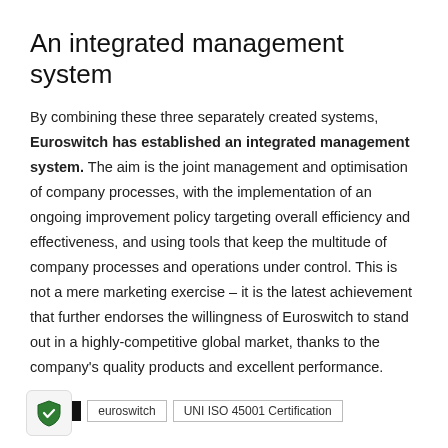An integrated management system
By combining these three separately created systems, Euroswitch has established an integrated management system. The aim is the joint management and optimisation of company processes, with the implementation of an ongoing improvement policy targeting overall efficiency and effectiveness, and using tools that keep the multitude of company processes and operations under control. This is not a mere marketing exercise – it is the latest achievement that further endorses the willingness of Euroswitch to stand out in a highly-competitive global market, thanks to the company's quality products and excellent performance.
TAGS   euroswitch   UNI ISO 45001 Certification